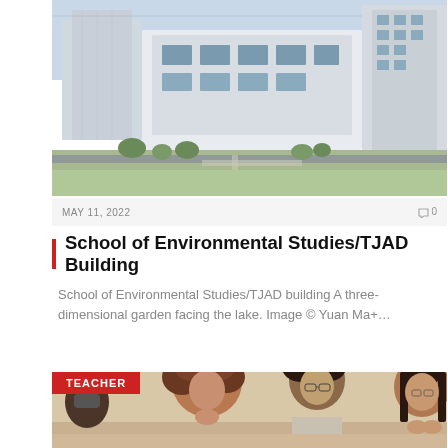[Figure (photo): Aerial view of School of Environmental Studies/TJAD Building — modern white and glass multi-story academic buildings with green landscaping, walkways, and a lake nearby]
MAY 11, 2022    🗨 0
School of Environmental Studies/TJAD Building
School of Environmental Studies/TJAD building A three-dimensional garden facing the lake. Image © Yuan Ma+…
[Figure (photo): Group of students and teacher in a classroom, smiling and engaged; a woman in the foreground with curly hair, a teenage boy with glasses behind her, and a young woman on the right clapping — all appearing happy and engaged; TEACHER badge overlay in red]